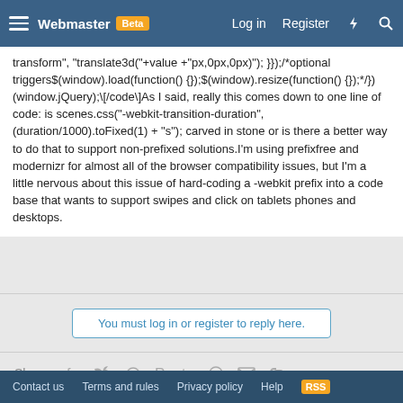Webmaster Beta | Log in | Register
transform", "translate3d("+value +"px,0px,0px)"); }});/*optional triggers$(window).load(function() {});$(window).resize(function() {});*/})(window.jQuery);\[/code\]As I said, really this comes down to one line of code: is scenes.css("-webkit-transition-duration", (duration/1000).toFixed(1) + "s"); carved in stone or is there a better way to do that to support non-prefixed solutions.I'm using prefixfree and modernizr for almost all of the browser compatibility issues, but I'm a little nervous about this issue of hard-coding a -webkit prefix into a code base that wants to support swipes and click on tablets phones and desktops.
You must log in or register to reply here.
Share:
< CSS Forum
Contact us | Terms and rules | Privacy policy | Help